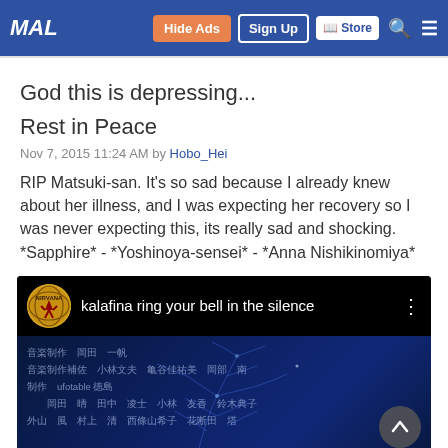MAL | Hide Ads | Sign Up | Store
God this is depressing...
Rest in Peace
Nov 7, 2015 11:24 AM by Hobo_Hei
RIP Matsuki-san. It's so sad because I already knew about her illness, and I was expecting her recovery so I was never expecting this, its really sad and shocking.
*Sapphire* - *Yoshinoya-sensei* - *Anna Nishikinomiya*
[Figure (screenshot): Embedded YouTube video player showing 'kalafina ring your bell in the silence' with a Nirvana logo avatar thumbnail, dark blue mystical background with Japanese text credits overlay and a scroll-up button in bottom right corner.]